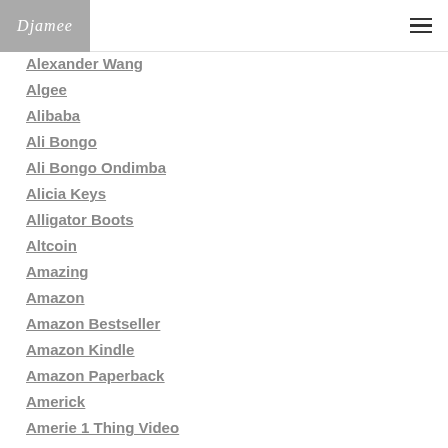Djamee
Alexander Wang
Algee
Alibaba
Ali Bongo
Ali Bongo Ondimba
Alicia Keys
Alligator Boots
Altcoin
Amazing
Amazon
Amazon Bestseller
Amazon Kindle
Amazon Paperback
Americk
Amerie 1 Thing Video
Amy Winhouse
Analytics